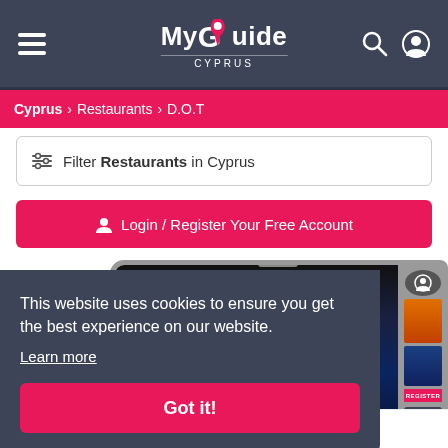My Guide CYPRUS
Cyprus > Restaurants > D.O.T
Filter Restaurants in Cyprus
Login / Register Your Free Account
[Figure (screenshot): Partial tablet device showing a travel website interface with dark screen]
This website uses cookies to ensure you get the best experience on our website. Learn more
Got it!
Top 5 Cocktail Bars
our Featured Guides below for inspiration